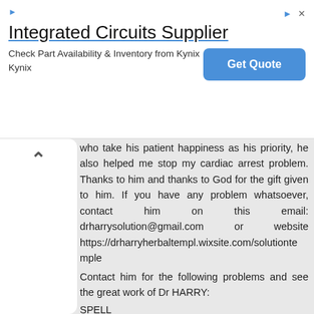[Figure (other): Advertisement banner for 'Integrated Circuits Supplier' from Kynix with a 'Get Quote' button]
who take his patient happiness as his priority, he also helped me stop my cardiac arrest problem. Thanks to him and thanks to God for the gift given to him. If you have any problem whatsoever, contact him on this email: drharrysolution@gmail.com or website https://drharryherbaltempl.wixsite.com/solutiontemple
Contact him for the following problems and see the great work of Dr HARRY:
SPELL
(1)If you want your ex back.
{2}If you want to be very successful
(3)If you are searching for a job
(4)You want to be promoted in your office.
(5)You want women/men to run after you.
(6)If you want a child.
(7)You want to be rich.